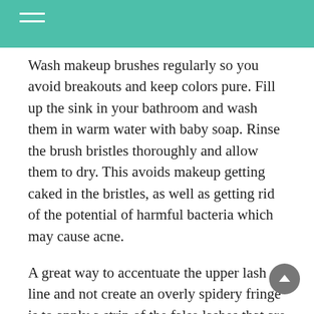Wash makeup brushes regularly so you avoid breakouts and keep colors pure. Fill up the sink in your bathroom and wash them in warm water with baby soap. Rinse the brush bristles thoroughly and allow them to dry. This avoids makeup getting caked in the bristles, as well as getting rid of the potential of harmful bacteria which may cause acne.
A great way to accentuate the upper lash line and not create an overly spidery fringe is to apply a strip of the false lashes that are used for your lower lashes. Apply from corner to corner along the outer third to the...